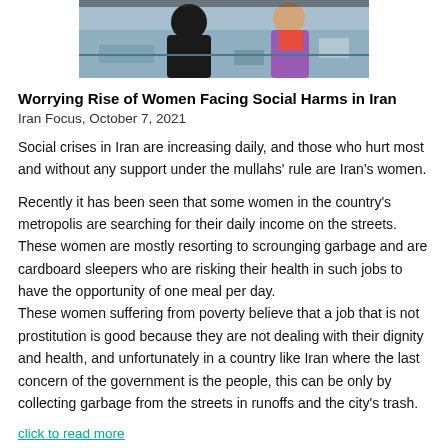[Figure (photo): Two women sitting at a market stall or outdoor area with goods, one in black clothing viewed from behind, another in colorful attire on the right.]
Worrying Rise of Women Facing Social Harms in Iran
Iran Focus, October 7, 2021
Social crises in Iran are increasing daily, and those who hurt most and without any support under the mullahs' rule are Iran's women.
Recently it has been seen that some women in the country's metropolis are searching for their daily income on the streets. These women are mostly resorting to scrounging garbage and are cardboard sleepers who are risking their health in such jobs to have the opportunity of one meal per day.
These women suffering from poverty believe that a job that is not prostitution is good because they are not dealing with their dignity and health, and unfortunately in a country like Iran where the last concern of the government is the people, this can be only by collecting garbage from the streets in runoffs and the city's trash.
click to read more